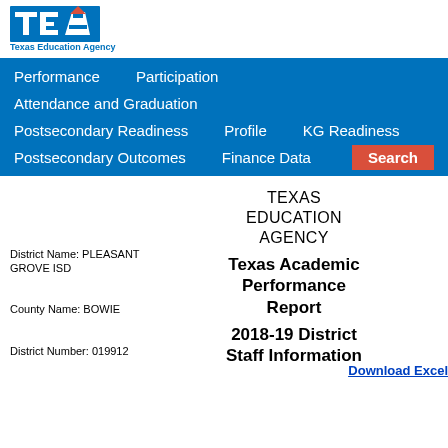[Figure (logo): TEA Texas Education Agency logo — blue letters TEA with orange arrow/house shape, tagline 'Texas Education Agency' below]
Performance   Participation   Attendance and Graduation   Postsecondary Readiness   Profile   KG Readiness   Postsecondary Outcomes   Finance Data   Search
TEXAS EDUCATION AGENCY
Texas Academic Performance Report
2018-19 District Staff Information
District Name: PLEASANT GROVE ISD
County Name: BOWIE
District Number: 019912
Download Excel